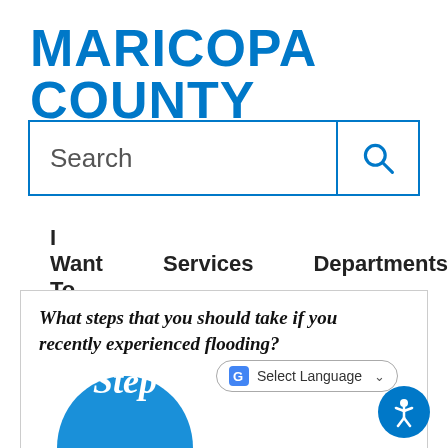MARICOPA COUNTY
[Figure (screenshot): Search box with blue border and magnifying glass icon]
I Want To...   Services   Departments
What steps that you should take if you recently experienced flooding?
[Figure (screenshot): Select Language dropdown with Google Translate icon]
[Figure (illustration): Blue circle with the word 'Step' in italic white text, partially cropped at bottom]